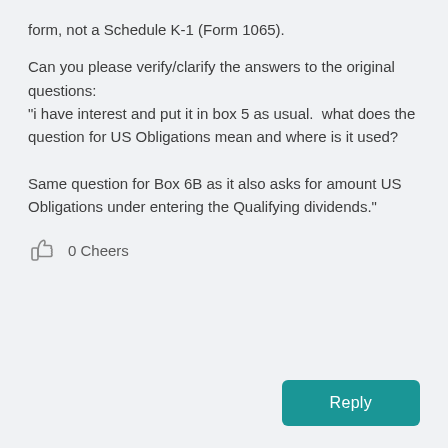form, not a Schedule K-1 (Form 1065).
Can you please verify/clarify the answers to the original questions:
"i have interest and put it in box 5 as usual.  what does the question for US Obligations mean and where is it used?

Same question for Box 6B as it also asks for amount US Obligations under entering the Qualifying dividends."
0 Cheers
Reply